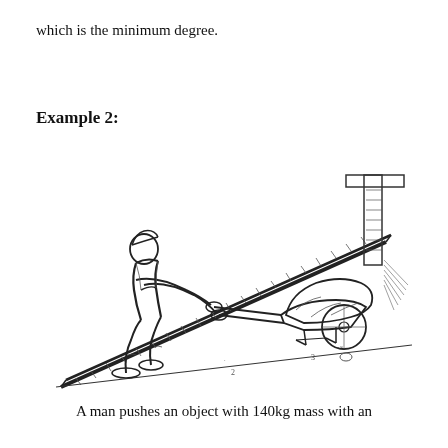which is the minimum degree.
Example 2:
[Figure (illustration): A line drawing of a man pushing a wheelbarrow loaded with a heavy sack up a wooden ramp/plank that leads to an elevated platform or loading dock. The man is leaning forward, gripping the handles of the wheelbarrow with both hands.]
A man pushes an object with 140kg mass with an